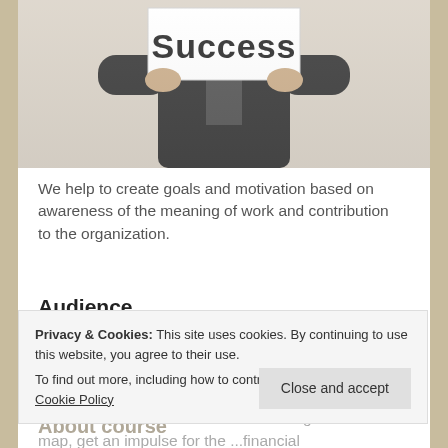[Figure (photo): Person in a suit holding a white sign with the word 'Success' in large bold letters, cropped to show torso and hands]
We help to create goals and motivation based on awareness of the meaning of work and contribution to the organization.
Audience
This training was designed for top managers, directors of HR function, project managers and everyone, who wants to increase their own effectiveness, build an individual strategic career map, get an impulse for the ... financial independence.
Privacy & Cookies: This site uses cookies. By continuing to use this website, you agree to their use.
To find out more, including how to control cookies, see here: Cookie Policy
About course